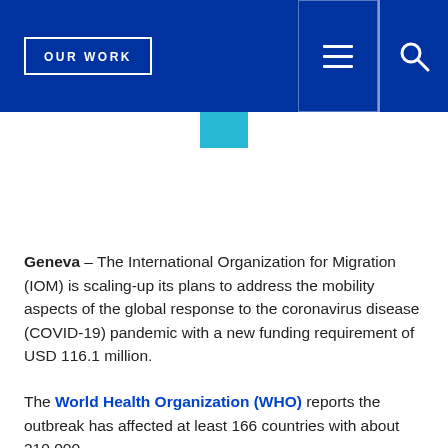OUR WORK
[Figure (other): Teal/cyan colored square accent element below navigation bar]
Geneva – The International Organization for Migration (IOM) is scaling-up its plans to address the mobility aspects of the global response to the coronavirus disease (COVID-19) pandemic with a new funding requirement of USD 116.1 million.
The World Health Organization (WHO) reports the outbreak has affected at least 166 countries with about 210,000